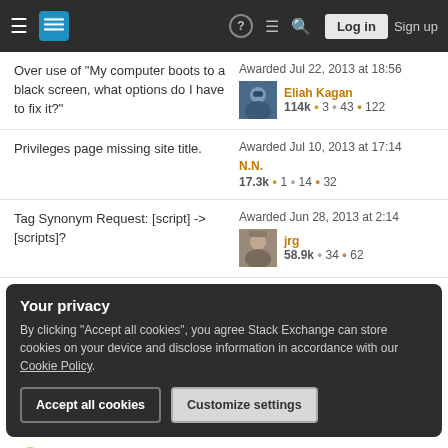Stack Exchange navigation bar with hamburger menu, logo, help, chat, search, Log in, Sign up
Over use of "My computer boots to a black screen, what options do I have to fix it?" — Awarded Jul 22, 2013 at 18:56 — Eliah Kagan 114k ●3 ●43 ●122
Privileges page missing site title. — Awarded Jul 10, 2013 at 17:14 — N.N. 17.3k ●1 ●14 ●32
Tag Synonym Request: [script] -> [scripts]? — Awarded Jun 28, 2013 at 2:14 — jrg 58.9k ●34 ●62
Your privacy
By clicking "Accept all cookies", you agree Stack Exchange can store cookies on your device and disclose information in accordance with our Cookie Policy.
Accept all cookies   Customize settings
Ringtail